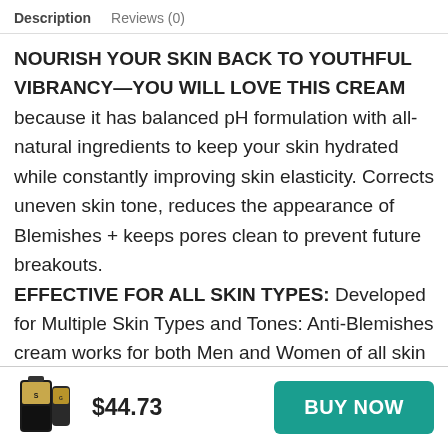Description   Reviews (0)
NOURISH YOUR SKIN BACK TO YOUTHFUL VIBRANCY—YOU WILL LOVE THIS CREAM because it has balanced pH formulation with all-natural ingredients to keep your skin hydrated while constantly improving skin elasticity. Corrects uneven skin tone, reduces the appearance of Blemishes + keeps pores clean to prevent future breakouts.
EFFECTIVE FOR ALL SKIN TYPES: Developed for Multiple Skin Types and Tones: Anti-Blemishes cream works for both Men and Women of all skin types and is vegan, cruelty-free, and Paraben-free.
QUALITY CHECK | PACKAGING: — Our Dedicated
[Figure (photo): Small product image of a dark bottle with gold label]
$44.73
BUY NOW